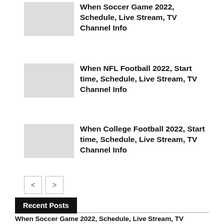When Soccer Game 2022, Schedule, Live Stream, TV Channel Info
When NFL Football 2022, Start time, Schedule, Live Stream, TV Channel Info
When College Football 2022, Start time, Schedule, Live Stream, TV Channel Info
Recent Posts
When Soccer Game 2022, Schedule, Live Stream, TV Channel